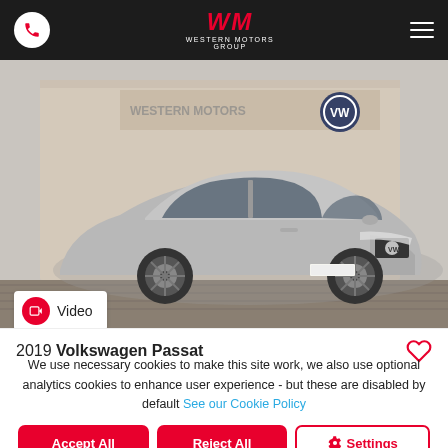Western Motors Group
[Figure (photo): Silver Volkswagen Passat parked in front of a Western Motors dealership building with VW logo signage]
Video
2019 Volkswagen Passat
We use necessary cookies to make this site work, we also use optional analytics cookies to enhance user experience - but these are disabled by default See our Cookie Policy
Accept All
Reject All
Settings